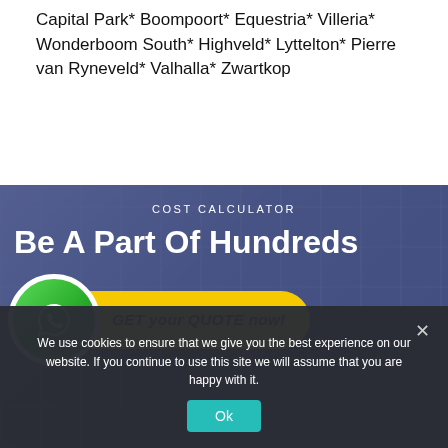Capital Park* Boompoort* Equestria* Villeria* Wonderboom South* Highveld* Lyttelton* Pierre van Ryneveld* Valhalla* Zwartkop
[Figure (screenshot): Website banner with dark blue overlay on industrial background. Shows 'COST CALCULATOR' label, 'Be A Part Of Hundreds' headline, a green WhatsApp circle icon, and a yellow 'GET your QUOTE now!' button.]
We use cookies to ensure that we give you the best experience on our website. If you continue to use this site we will assume that you are happy with it.